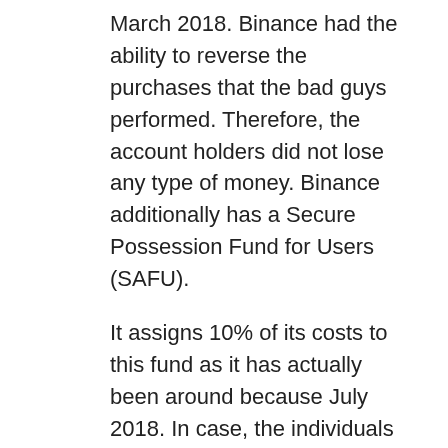March 2018. Binance had the ability to reverse the purchases that the bad guys performed. Therefore, the account holders did not lose any type of money. Binance additionally has a Secure Possession Fund for Users (SAFU).
It assigns 10% of its costs to this fund as it has actually been around because July 2018. In case, the individuals shed any type of money due to hacking or fishing efforts, Binance can compensate them for their losses. This fund was used in a considerable hack that happened in May 2019. The cryptocurrency exchange had actually kept $ 40 million worth of Bitcoin is using this fund. That is why you can be sure that your funds are secure in this cryptocurrency exchange.